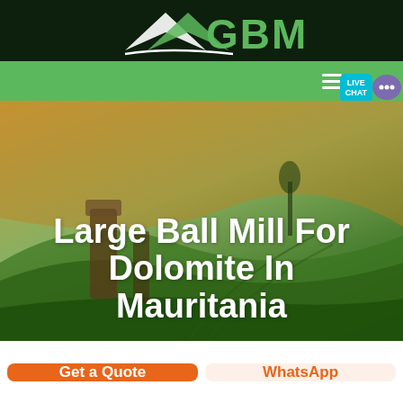[Figure (logo): GBM logo with stylized arrow/diamond shape in white and green on dark background]
[Figure (screenshot): Green navigation bar with hamburger menu icon and live chat bubble on the right]
[Figure (photo): Aerial photo of rolling green farmland fields with standing stones]
Large Ball Mill For Dolomite In Mauritania
Get a Quote
WhatsApp